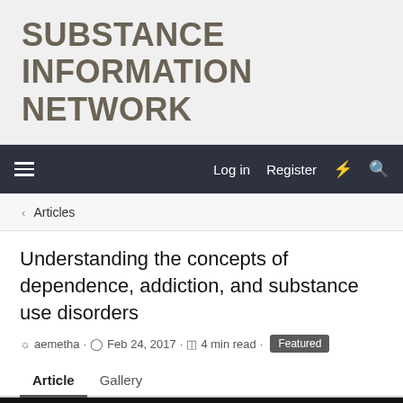SUBSTANCE INFORMATION NETWORK
Log in  Register
< Articles
Understanding the concepts of dependence, addiction, and substance use disorders
aemetha · Feb 24, 2017 · 4 min read · Featured
Article  Gallery
[Figure (photo): Word cloud on black background with terms related to substance use disorders including: DSM-IV, DISORDERS, OBLIGATIONS, HIGH, PREOCCUPATION, ACTIVITIES, INCLUDE, NON-MEDICALLY, FEELING, DECREASED, SLOWED, PHYSICAL TERMS, RESULTS, SOURCE, SYMPTOMS, NECESSARY, DRUG-SEEKING, CONSEQUENCES, METHAMPHETAMINE, STIMULANTS. Words in red and white on black background.]